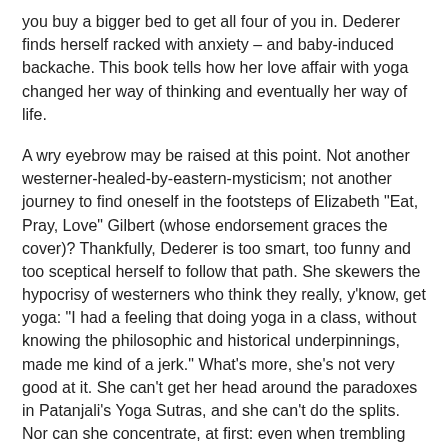you buy a bigger bed to get all four of you in. Dederer finds herself racked with anxiety – and baby-induced backache. This book tells how her love affair with yoga changed her way of thinking and eventually her way of life.
A wry eyebrow may be raised at this point. Not another westerner-healed-by-eastern-mysticism; not another journey to find oneself in the footsteps of Elizabeth "Eat, Pray, Love" Gilbert (whose endorsement graces the cover)? Thankfully, Dederer is too smart, too funny and too sceptical herself to follow that path. She skewers the hypocrisy of westerners who think they really, y'know, get yoga: "I had a feeling that doing yoga in a class, without knowing the philosophic and historical underpinnings, made me kind of a jerk." What's more, she's not very good at it. She can't get her head around the paradoxes in Patanjali's Yoga Sutras, and she can't do the splits. Nor can she concentrate, at first: even when trembling with pain in the difficult poses, she finds her mind drifting helplessly. (Did Patanjali ever catch himself wondering what to give the kids for dinner?)
The full review at The Guardian